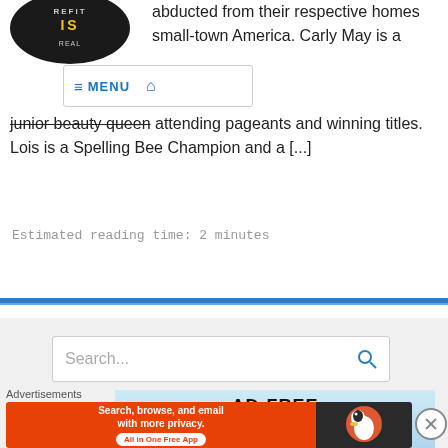[Figure (logo): Circular dark logo with yellow text]
[Figure (screenshot): Navigation menu bar with hamburger icon, MENU text, and home icon]
abducted from their respective homes small-town America. Carly May is a junior beauty queen attending pageants and winning titles. Lois is a Spelling Bee Champion and a [...]
Estimated reading time: 2 minutes
[Figure (screenshot): Search box with placeholder text 'Search...' and a blue search icon]
[Figure (screenshot): AD-FREE BROWSING advertisement banner in light blue]
[Figure (screenshot): Close button X circle]
Advertisements
[Figure (screenshot): DuckDuckGo advertisement: Search, browse, and email with more privacy. All in One Free App. Orange background with DuckDuckGo logo on dark background.]